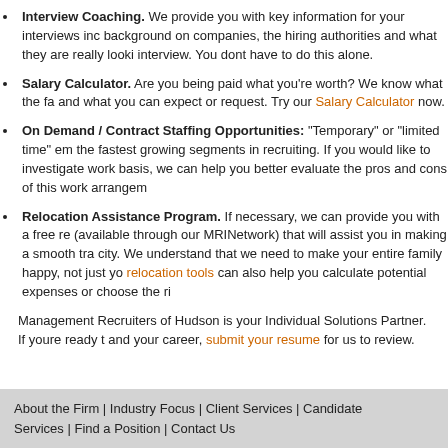Interview Coaching. We provide you with key information for your interviews including background on companies, the hiring authorities and what they are really looking for in an interview. You dont have to do this alone.
Salary Calculator. Are you being paid what you're worth? We know what the fair market is and what you can expect or request. Try our Salary Calculator now.
On Demand / Contract Staffing Opportunities: "Temporary" or "limited time" employment is the fastest growing segments in recruiting. If you would like to investigate working on a contract basis, we can help you better evaluate the pros and cons of this work arrangement.
Relocation Assistance Program. If necessary, we can provide you with a free relocation guide (available through our MRINetwork) that will assist you in making a smooth transition to a new city. We understand that we need to make your entire family happy, not just you. Our relocation tools can also help you calculate potential expenses or choose the right neighborhood.
Management Recruiters of Hudson is your Individual Solutions Partner. If youre ready to take control and your career, submit your resume for us to review.
About the Firm | Industry Focus | Client Services | Candidate Services | Find a Position | Contact Us